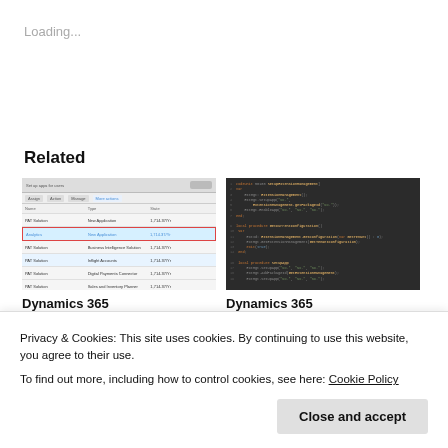Loading...
Related
[Figure (screenshot): Spreadsheet/table UI screenshot showing rows and columns with a highlighted row in blue/red border]
[Figure (screenshot): Dark-themed code editor screenshot showing AL/programming code with syntax highlighting]
Dynamics 365
Dynamics 365
Privacy & Cookies: This site uses cookies. By continuing to use this website, you agree to their use.
To find out more, including how to control cookies, see here: Cookie Policy
Close and accept
September 24, 2019
"Business Central"